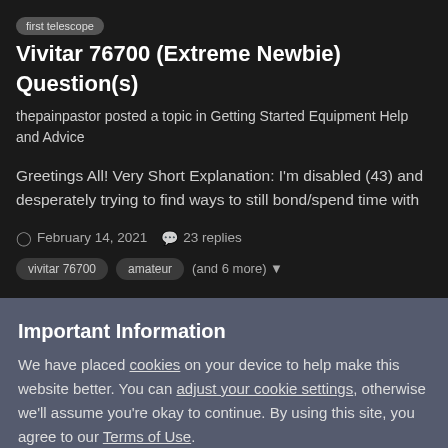first telescope  Vivitar 76700 (Extreme Newbie) Question(s)
thepainpastor posted a topic in Getting Started Equipment Help and Advice
Greetings All! Very Short Explanation: I'm disabled (43) and desperately trying to find ways to still bond/spend time with
February 14, 2021   23 replies
vivitar 76700   amateur   (and 6 more)
Important Information
We have placed cookies on your device to help make this website better. You can adjust your cookie settings, otherwise we'll assume you're okay to continue. By using this site, you agree to our Terms of Use.
✓  I accept